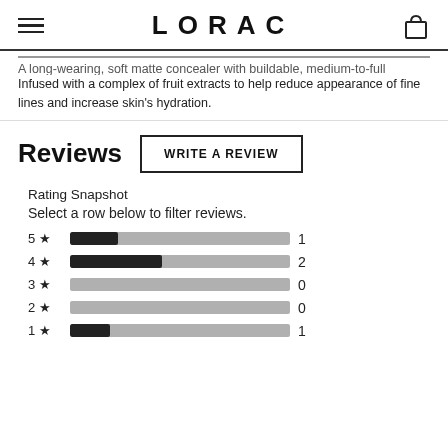LORAC
A long-wearing, soft matte concealer with buildable, medium-to-full coverage. Infused with a complex of fruit extracts to help reduce appearance of fine lines and increase skin's hydration.
Reviews
WRITE A REVIEW
Rating Snapshot
Select a row below to filter reviews.
[Figure (bar-chart): Rating Snapshot]